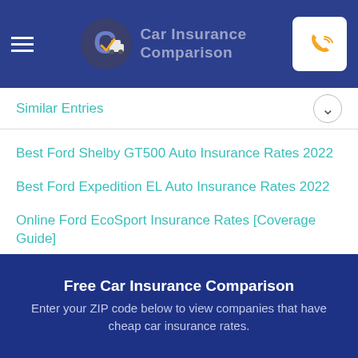[Figure (logo): Car Insurance Comparison logo with circular 'C' icon and text in the navigation header]
Similar Entries
Best Ford Shelby GT500 Auto Insurance Rates 2022
Best Ford Expedition EL Auto Insurance Rates 2022
Online Ford EcoSport Insurance Rates [Coverage Guide]
Best Ford Mustang Mach-E Auto Insurance Rates 2022
Free Car Insurance Comparison
Enter your ZIP code below to view companies that have cheap car insurance rates.